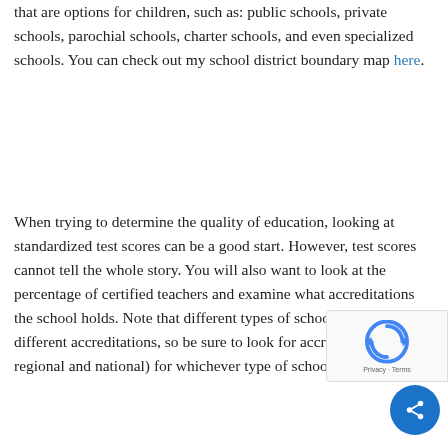that are options for children, such as: public schools, private schools, parochial schools, charter schools, and even specialized schools. You can check out my school district boundary map here.
When trying to determine the quality of education, looking at standardized test scores can be a good start. However, test scores cannot tell the whole story. You will also want to look at the percentage of certified teachers and examine what accreditations the school holds. Note that different types of schools can have different accreditations, so be sure to look for accreditations (both regional and national) for whichever type of school you